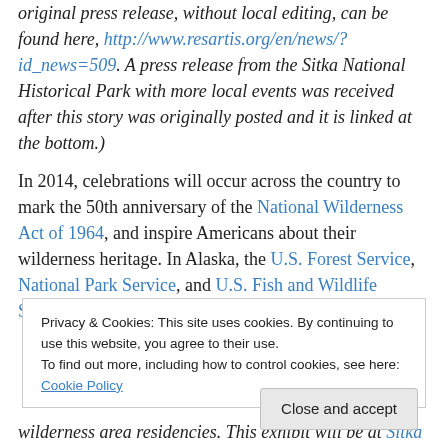original press release, without local editing, can be found here, http://www.resartis.org/en/news/?id_news=509. A press release from the Sitka National Historical Park with more local events was received after this story was originally posted and it is linked at the bottom.)
In 2014, celebrations will occur across the country to mark the 50th anniversary of the National Wilderness Act of 1964, and inspire Americans about their wilderness heritage. In Alaska, the U.S. Forest Service, National Park Service, and U.S. Fish and Wildlife Service are collaborating with an array of conservation
Privacy & Cookies: This site uses cookies. By continuing to use this website, you agree to their use.
To find out more, including how to control cookies, see here: Cookie Policy
Close and accept
wilderness area residencies. This exhibit will be at Sitka